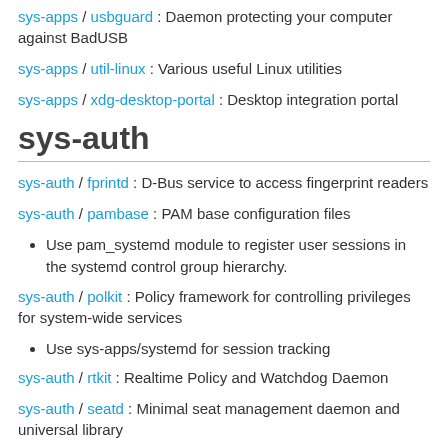sys-apps / usbguard : Daemon protecting your computer against BadUSB
sys-apps / util-linux : Various useful Linux utilities
sys-apps / xdg-desktop-portal : Desktop integration portal
sys-auth
sys-auth / fprintd : D-Bus service to access fingerprint readers
sys-auth / pambase : PAM base configuration files
Use pam_systemd module to register user sessions in the systemd control group hierarchy.
sys-auth / polkit : Policy framework for controlling privileges for system-wide services
Use sys-apps/systemd for session tracking
sys-auth / rtkit : Realtime Policy and Watchdog Daemon
sys-auth / seatd : Minimal seat management daemon and universal library